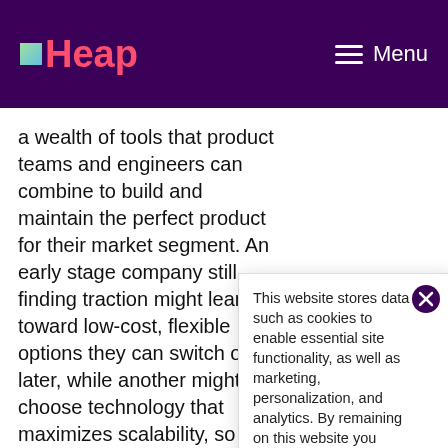Heap — Menu
a wealth of tools that product teams and engineers can combine to build and maintain the perfect product for their market segment. An early stage company still finding traction might lean toward low-cost, flexible options they can switch out later, while another might choose technology that maximizes scalability, so they can meet th…
Here are the… options for e…
Operating language… environment… in as w… optimiz… depend… and the user experience, and what devices you're
This website stores data such as cookies to enable essential site functionality, as well as marketing, personalization, and analytics. By remaining on this website you indicate your consent.
Cookie Policy